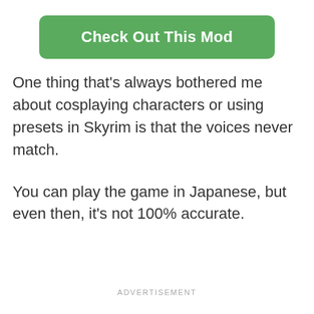[Figure (other): Green rounded rectangle button labeled 'Check Out This Mod' in bold white text]
One thing that’s always bothered me about cosplaying characters or using presets in Skyrim is that the voices never match.
You can play the game in Japanese, but even then, it’s not 100% accurate.
ADVERTISEMENT